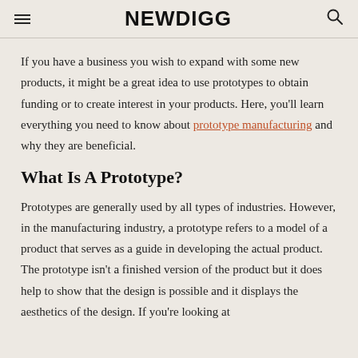NEWDIGG
If you have a business you wish to expand with some new products, it might be a great idea to use prototypes to obtain funding or to create interest in your products. Here, you'll learn everything you need to know about prototype manufacturing and why they are beneficial.
What Is A Prototype?
Prototypes are generally used by all types of industries. However, in the manufacturing industry, a prototype refers to a model of a product that serves as a guide in developing the actual product. The prototype isn't a finished version of the product but it does help to show that the design is possible and it displays the aesthetics of the design. If you're looking at